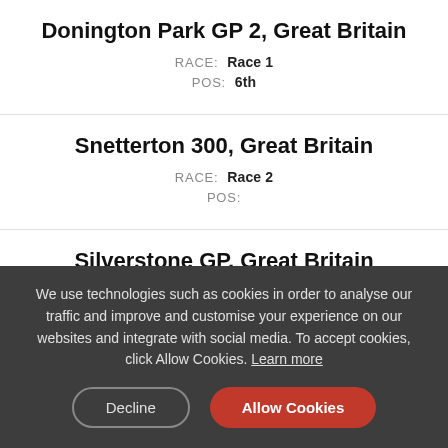Donington Park GP 2, Great Britain
RACE: Race 1
POS: 6th
Snetterton 300, Great Britain
RACE: Race 2
POS:
Silverstone GP, Great Britain
RACE: Race 1
We use technologies such as cookies in order to analyse our traffic and improve and customise your experience on our websites and integrate with social media. To accept cookies, click Allow Cookies. Learn more
Decline
Allow Cookies